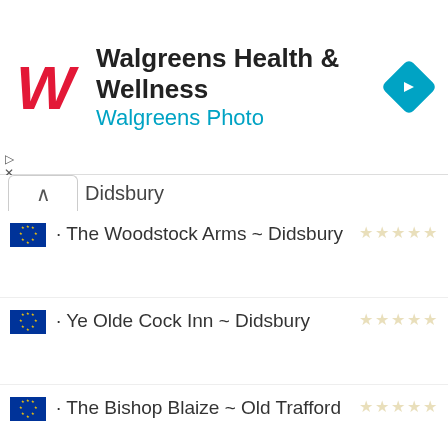[Figure (screenshot): Walgreens Health & Wellness advertisement banner with Walgreens logo, subtitle 'Walgreens Photo', and a blue navigation icon on the right]
Didsbury (partial, top)
• The Woodstock Arms ~ Didsbury
• Ye Olde Cock Inn ~ Didsbury
• The Bishop Blaize ~ Old Trafford
• The Red Cafe ~ Old Trafford
• Thyme ~ Old Trafford